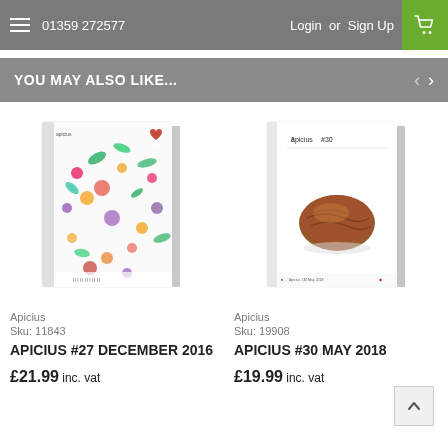01359 272577   Login or Sign Up
YOU MAY ALSO LIKE...
[Figure (photo): Book cover of Apicius #27 December 2016 with colorful flowers and leaves on white background]
Apicius
Sku: 11843
APICIUS #27 DECEMBER 2016
£21.99 inc. vat
[Figure (photo): Book cover of Apicius #30 May 2018 with a glazed pastry/food item on white background]
Apicius
Sku: 19908
APICIUS #30 MAY 2018
£19.99 inc. vat